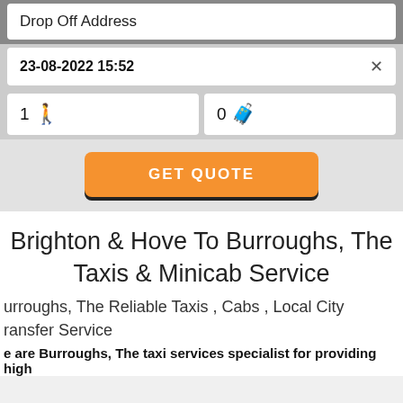Drop Off Address
23-08-2022 15:52
1 [person icon]
0 [luggage icon]
GET QUOTE
Brighton & Hove To Burroughs, The Taxis & Minicab Service
Burroughs, The Reliable Taxis , Cabs , Local City Transfer Service
We are Burroughs, The taxi services specialist for providing high